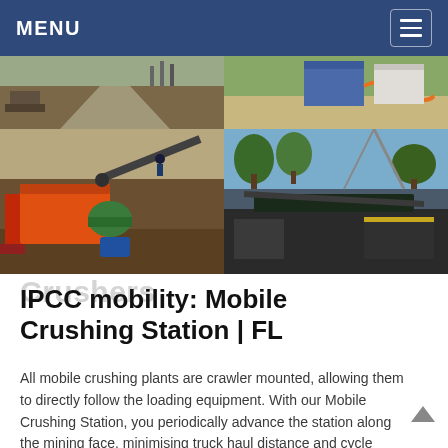MENU
[Figure (photo): Four-panel photo grid showing mobile crushing station equipment at a mining site. Top-left: aerial/ground view of a mining road with machinery. Top-right: close-up of blue and orange equipment with hoses. Bottom-left: orange and green mobile crushing plant with conveyor belts and workers. Bottom-right: industrial crushing equipment on site with trees in background.]
Crushers
IPCC mobility: Mobile Crushing Station | FL
All mobile crushing plants are crawler mounted, allowing them to directly follow the loading equipment. With our Mobile Crushing Station, you periodically advance the station along the mining face, minimising truck haul distance and cycle times, as you crush material with